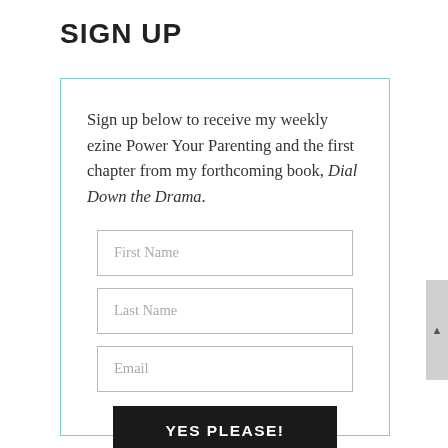SIGN UP
Sign up below to receive my weekly ezine Power Your Parenting and the first chapter from my forthcoming book, Dial Down the Drama.
[Figure (screenshot): A web sign-up form with three input fields (First Name, Last Name, Email) and a black submit button labeled YES PLEASE!]